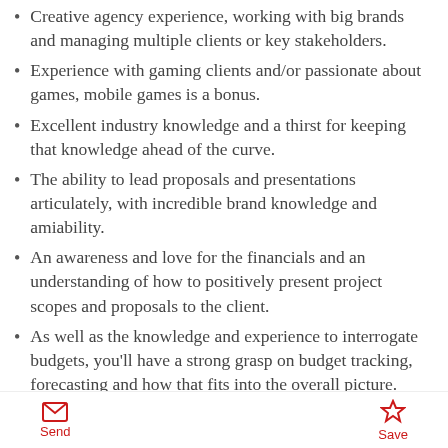Creative agency experience, working with big brands and managing multiple clients or key stakeholders.
Experience with gaming clients and/or passionate about games, mobile games is a bonus.
Excellent industry knowledge and a thirst for keeping that knowledge ahead of the curve.
The ability to lead proposals and presentations articulately, with incredible brand knowledge and amiability.
An awareness and love for the financials and an understanding of how to positively present project scopes and proposals to the client.
As well as the knowledge and experience to interrogate budgets, you'll have a strong grasp on budget tracking, forecasting and how that fits into the overall picture.
Enough confidence in your experience, knowledge
Send | Save